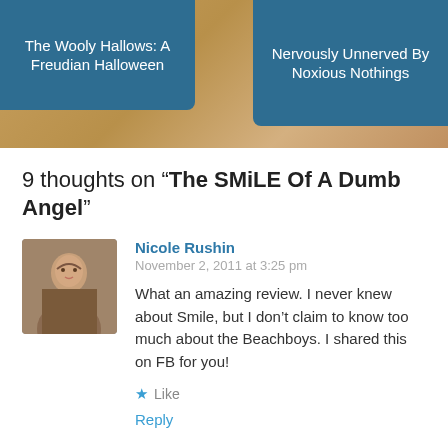[Figure (screenshot): Top navigation banner with brownish background and two teal/blue navigation boxes. Left box: 'The Wooly Hallows: A Freudian Halloween'. Right box: 'Nervously Unnerved By Noxious Nothings'.]
9 thoughts on “The SMiLE Of A Dumb Angel”
[Figure (photo): Avatar photo of Nicole Rushin, a woman with brown hair smiling.]
Nicole Rushin
November 2, 2011 at 3:25 pm
What an amazing review. I never knew about Smile, but I don’t claim to know too much about the Beachboys. I shared this on FB for you!
Like
Reply